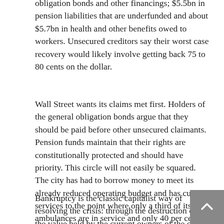obligation bonds and other financings; $5.5bn in pension liabilities that are underfunded and about $5.7bn in health and other benefits owed to workers. Unsecured creditors say their worst case recovery would likely involve getting back 75 to 80 cents on the dollar.
Wall Street wants its claims met first. Holders of the general obligation bonds argue that they should be paid before other unsecured claimants. Pension funds maintain that their rights are constitutionally protected and should have priority. This circle will not easily be squared. The city has had to borrow money to meet its already reduced operating budget and has cut services to the point where only a third of its ambulances are in service and only 40 per cent of its street lights work. It now takes an hour for the police to respond to emergency calls.
Bankruptcy is the classic capitalist way of resolving the crisis: through the destruction of the value held by the current owners of the city?s debt and by reducing the incomes of the people working for the city. After that, new capital can flourish on the ashes of the old. The vultures are already picking at the pieces